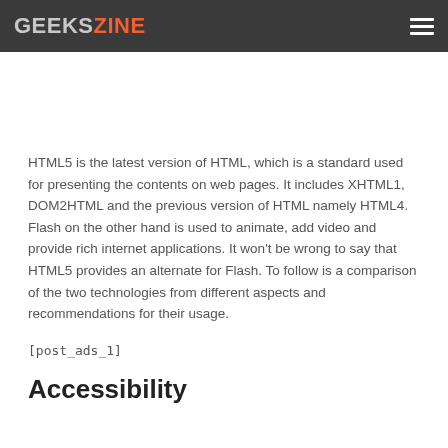GEEKSZINE
HTML5 is the latest version of HTML, which is a standard used for presenting the contents on web pages. It includes XHTML1, DOM2HTML and the previous version of HTML namely HTML4. Flash on the other hand is used to animate, add video and provide rich internet applications. It won't be wrong to say that HTML5 provides an alternate for Flash. To follow is a comparison of the two technologies from different aspects and recommendations for their usage.
[post_ads_1]
Accessibility